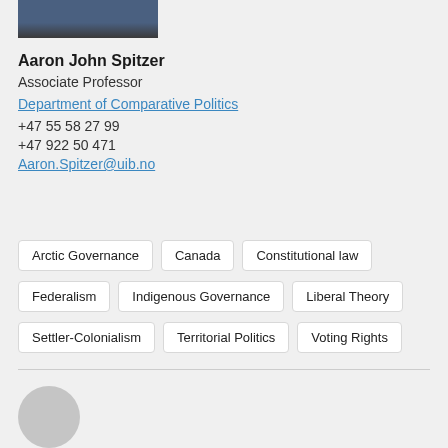[Figure (photo): Partial photo of Aaron John Spitzer in a dark jacket, cropped at top of page]
Aaron John Spitzer
Associate Professor
Department of Comparative Politics
+47 55 58 27 99
+47 922 50 471
Aaron.Spitzer@uib.no
Arctic Governance
Canada
Constitutional law
Federalism
Indigenous Governance
Liberal Theory
Settler-Colonialism
Territorial Politics
Voting Rights